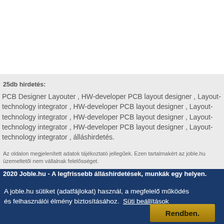25db hirdetés:
PCB Designer Layouter , HW-developer PCB layout designer , Layout-technology integrator , HW-developer PCB layout designer , Layout-technology integrator , HW-developer PCB layout designer , Layout-technology integrator , HW-developer PCB layout designer , Layout-technology integrator , álláshirdetés.
Az oldalon megjelenített adatok tájékoztató jellegűek. Ezen tartalmakért az joble.hu üzemeltetői nem vállalnak felelősséget.
2020 Joble.hu - A legfrissebb álláshirdetések, munkák egy helyen.
A joble.hu sütiket (adatfájlokat) használ, a megfelelő működés és felhasználói élmény biztosításához. Süti beállítások
Rendben.